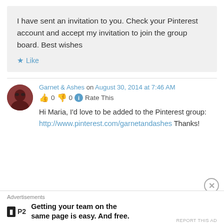I have sent an invitation to you. Check your Pinterest account and accept my invitation to join the group board. Best wishes
Like
Garnet & Ashes on August 30, 2014 at 7:46 AM
0  0  Rate This
Hi Maria, I'd love to be added to the Pinterest group: http://www.pinterest.com/garnetandashes Thanks!
Advertisements
Getting your team on the same page is easy. And free.